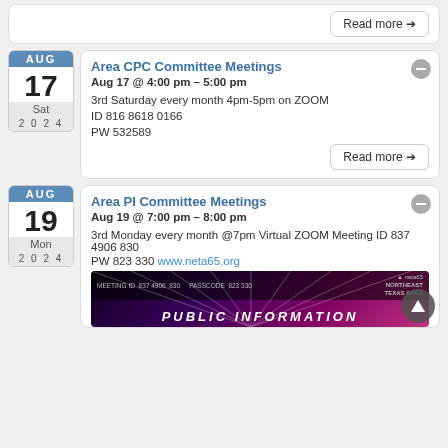Read more →
Area CPC Committee Meetings
Aug 17 @ 4:00 pm – 5:00 pm
3rd Saturday every month 4pm-5pm on ZOOM
ID 816 8618 0166
PW 532589
Read more →
Area PI Committee Meetings
Aug 19 @ 7:00 pm – 8:00 pm
3rd Monday every month @7pm Virtual ZOOM Meeting ID 837 4906 830
PW 823 330 www.neta65.org
[Figure (screenshot): Public Information meeting flyer with dark purple/pink gradient background, top bar showing MEETING ID 837 4906 830 PASSCODE 823 330, Northeast Texas Area logo, and PUBLIC INFORMATION text at bottom]